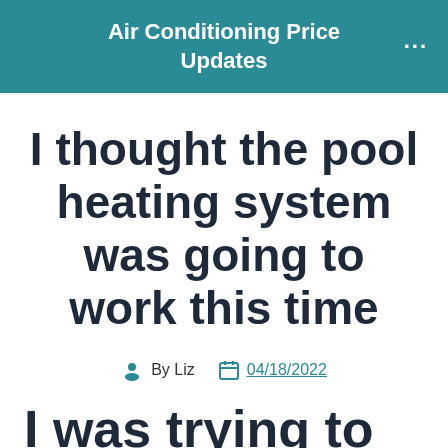Air Conditioning Price Updates
I thought the pool heating system was going to work this time
By Liz  04/18/2022
I was trying to be